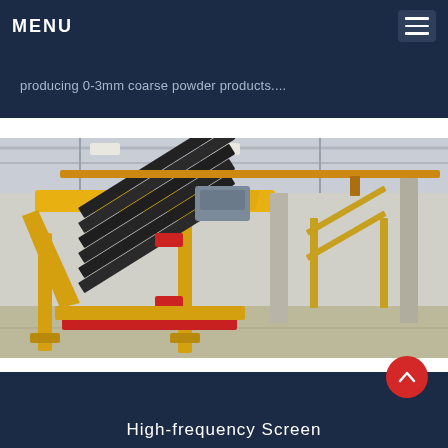MENU
producing 0-3mm coarse powder products....
[Figure (photo): A yellow high-frequency screening machine with inclined black screen decks mounted on a yellow steel frame, photographed in an industrial factory/warehouse setting with overhead cranes and concrete floor.]
High-frequency Screen